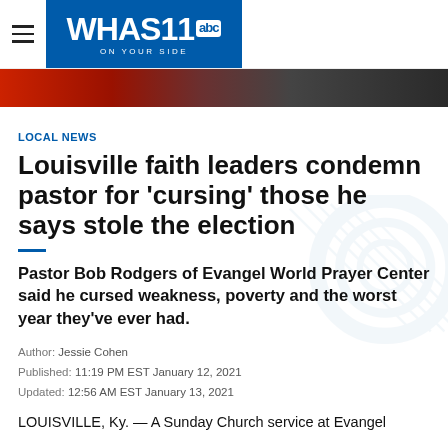WHAS11 abc ON YOUR SIDE
[Figure (photo): Hero image banner with red and dark tones, appears to be a news broadcast background]
LOCAL NEWS
Louisville faith leaders condemn pastor for 'cursing' those he says stole the election
Pastor Bob Rodgers of Evangel World Prayer Center said he cursed weakness, poverty and the worst year they've ever had.
Author: Jessie Cohen
Published: 11:19 PM EST January 12, 2021
Updated: 12:56 AM EST January 13, 2021
LOUISVILLE, Ky. — A Sunday Church service at Evangel